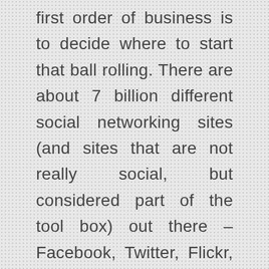first order of business is to decide where to start that ball rolling. There are about 7 billion different social networking sites (and sites that are not really social, but considered part of the tool box) out there – Facebook, Twitter, Flickr, Tumblr, Pinterest, LinkedIn, Google+, YouTube – too many to mention. I'm going to focus on what, for most businesses, would be considered the top 3 – Facebook, Twitter and LinkedIn. Google+ is going to wind up being a heavy